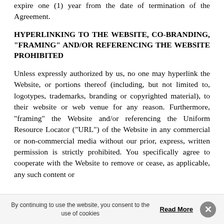expire one (1) year from the date of termination of the Agreement.
HYPERLINKING TO THE WEBSITE, CO-BRANDING, "FRAMING" AND/OR REFERENCING THE WEBSITE PROHIBITED
Unless expressly authorized by us, no one may hyperlink the Website, or portions thereof (including, but not limited to, logotypes, trademarks, branding or copyrighted material), to their website or web venue for any reason. Furthermore, “framing” the Website and/or referencing the Uniform Resource Locator (“URL”) of the Website in any commercial or non-commercial media without our prior, express, written permission is strictly prohibited. You specifically agree to cooperate with the Website to remove or cease, as applicable, any such content or
By continuing to use the website, you consent to the use of cookies